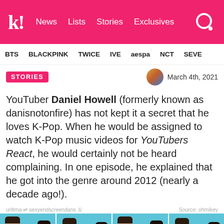k! News  Lists  Stories  Exclusives
BTS  BLACKPINK  TWICE  IVE  aespa  NCT  SEVE
STORIES   March 4th, 2021
YouTuber Daniel Howell (formerly known as danisnotonfire) has not kept it a secret that he loves K-Pop. When he would be assigned to watch K-Pop music videos for YouTubers React, he would certainly not be heard complaining. In one episode, he explained that he got into the genre around 2012 (nearly a decade ago!).
uritima ⇌ sexyendscreendans ✪   Source: ohmikey
[Figure (screenshot): Four-panel screenshot from a video showing two men sitting in front of a teal/blue background with a pink bar at the bottom.]